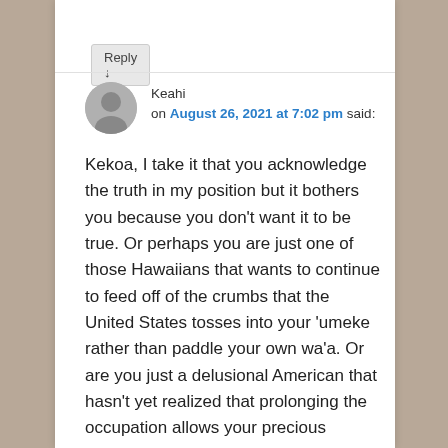Reply ↓
Keahi
on August 26, 2021 at 7:02 pm said:
Kekoa, I take it that you acknowledge the truth in my position but it bothers you because you don't want it to be true. Or perhaps you are just one of those Hawaiians that wants to continue to feed off of the crumbs that the United States tosses into your 'umeke rather than paddle your own wa'a. Or are you just a delusional American that hasn't yet realized that prolonging the occupation allows your precious federal funds to be siphoned off to